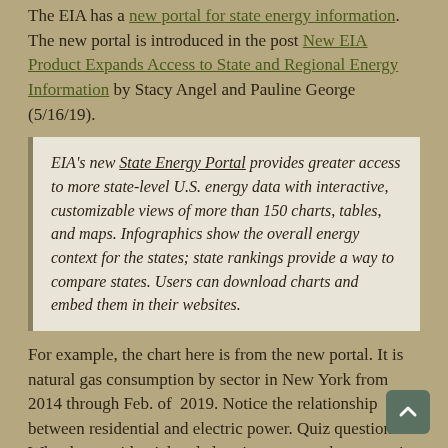The EIA has a new portal for state energy information. The new portal is introduced in the post New EIA Product Expands Access to State and Regional Energy Information by Stacy Angel and Pauline George (5/16/19).
EIA's new State Energy Portal provides greater access to more state-level U.S. energy data with interactive, customizable views of more than 150 charts, tables, and maps. Infographics show the overall energy context for the states; state rankings provide a way to compare states. Users can download charts and embed them in their websites.
For example, the chart here is from the new portal. It is natural gas consumption by sector in New York from 2014 through Feb. of 2019. Notice the relationship between residential and electric power. Quiz question: Why does residential and electric power peak at opposite time of the year? The choices for this